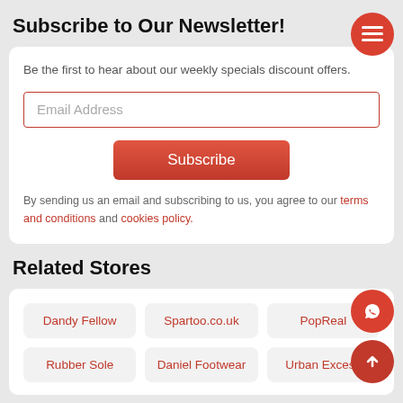Subscribe to Our Newsletter!
Be the first to hear about our weekly specials discount offers.
Email Address
Subscribe
By sending us an email and subscribing to us, you agree to our terms and conditions and cookies policy.
Related Stores
Dandy Fellow, Spartoo.co.uk, PopReal, Rubber Sole, Daniel Footwear, Urban Excess